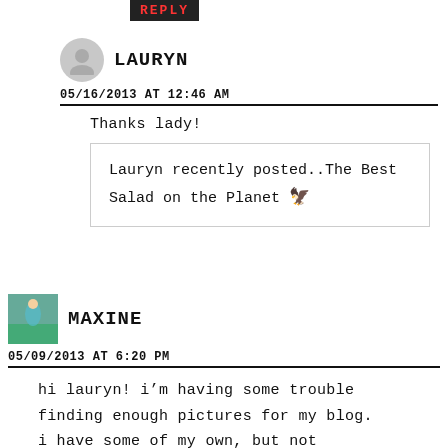[Figure (other): REPLY button, dark background with red text]
LAURYN
05/16/2013 AT 12:46 AM
Thanks lady!
Lauryn recently posted..The Best Salad on the Planet 🏹
MAXINE
05/09/2013 AT 6:20 PM
hi lauryn! i'm having some trouble finding enough pictures for my blog. i have some of my own, but not